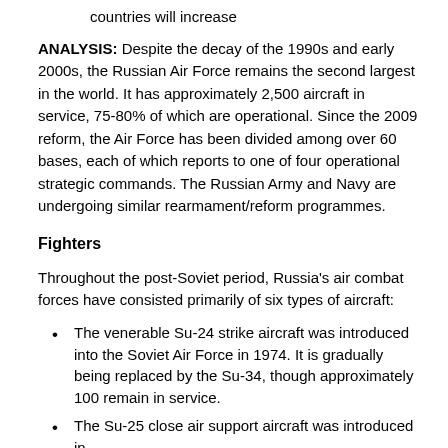countries will increase
ANALYSIS: Despite the decay of the 1990s and early 2000s, the Russian Air Force remains the second largest in the world. It has approximately 2,500 aircraft in service, 75-80% of which are operational. Since the 2009 reform, the Air Force has been divided among over 60 bases, each of which reports to one of four operational strategic commands. The Russian Army and Navy are undergoing similar rearmament/reform programmes.
Fighters
Throughout the post-Soviet period, Russia's air combat forces have consisted primarily of six types of aircraft:
The venerable Su-24 strike aircraft was introduced into the Soviet Air Force in 1974. It is gradually being replaced by the Su-34, though approximately 100 remain in service.
The Su-25 close air support aircraft was introduced in